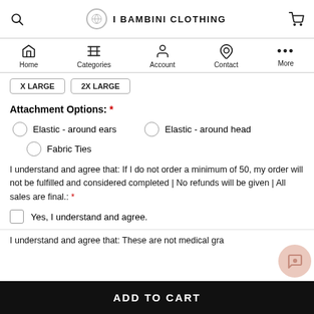I BAMBINI CLOTHING
[Figure (screenshot): Navigation bar with icons: Home, Categories, Account, Contact, More]
X LARGE   2X LARGE
Attachment Options: *
Elastic - around ears
Elastic - around head
Fabric Ties
I understand and agree that: If I do not order a minimum of 50, my order will not be fulfilled and considered completed | No refunds will be given | All sales are final.: *
Yes, I understand and agree.
I understand and agree that: These are not medical gra...
ADD TO CART